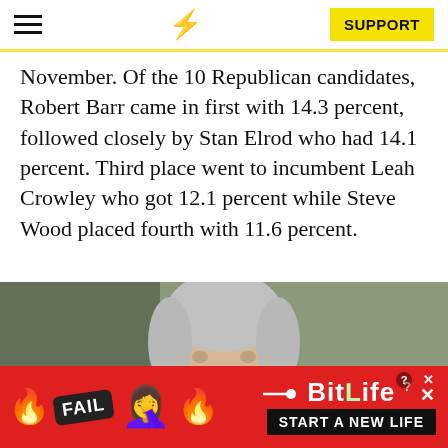≡ ⚡ SUPPORT
November. Of the 10 Republican candidates, Robert Barr came in first with 14.3 percent, followed closely by Stan Elrod who had 14.1 percent. Third place went to incumbent Leah Crowley who got 12.1 percent while Steve Wood placed fourth with 11.6 percent.
[Figure (photo): A person with grey/silver hair photographed outdoors with a blurred green background]
[Figure (infographic): BitLife mobile game advertisement banner with FAIL text, emoji, fire graphics, and START A NEW LIFE call to action]